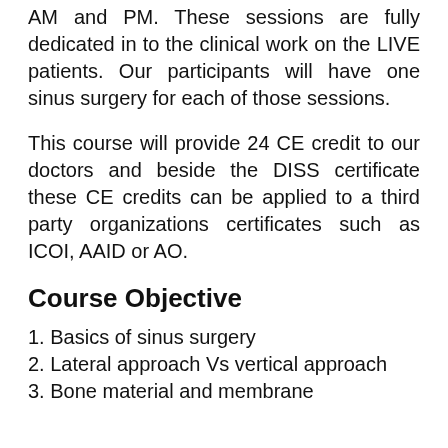AM and PM. These sessions are fully dedicated in to the clinical work on the LIVE patients. Our participants will have one sinus surgery for each of those sessions.
This course will provide 24 CE credit to our doctors and beside the DISS certificate these CE credits can be applied to a third party organizations certificates such as ICOI, AAID or AO.
Course Objective
1. Basics of sinus surgery
2. Lateral approach Vs vertical approach
3. Bone material and membrane